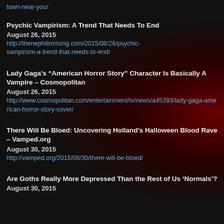town-near-you/
Psychic Vampirism: A Trend That Needs To End
August 26, 2015
http://thenephilimrising.com/2015/08/26/psychic-vampirism-a-trend-that-needs-to-end/
Lady Gaga’s “American Horror Story” Character Is Basically A Vampire – Cosmopolitan
August 26, 2015
http://www.cosmopolitan.com/entertainment/tv/news/a45393/lady-gaga-american-horror-story-cover/
There Will Be Bloed: Uncovering Holland’s Halloween Blood Rave – Vamped.org
August 30, 2015
http://vamped.org/2015/08/30/there-will-be-bloed/
Are Goths Really More Depressed Than the Rest of Us ‘Normals’?
August 30, 2015